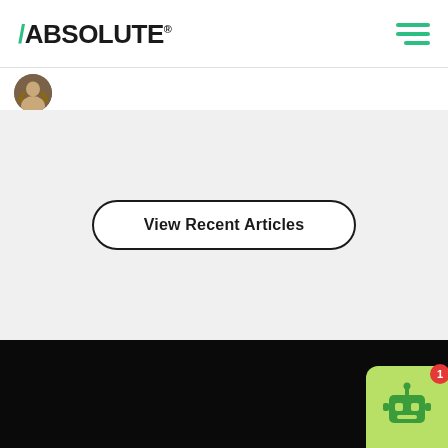/ABSOLUTE®
[Figure (logo): Absolute Software logo with green forward slash before bold text ABSOLUTE and registered trademark symbol, plus hamburger menu icon in green on the right]
[Figure (photo): Partial circular avatar/profile photo cropped at top left of page content area]
View Recent Articles
Products
Solutions
[Figure (illustration): Green robot chatbot widget icon in bottom right corner with red notification badge showing number 1]